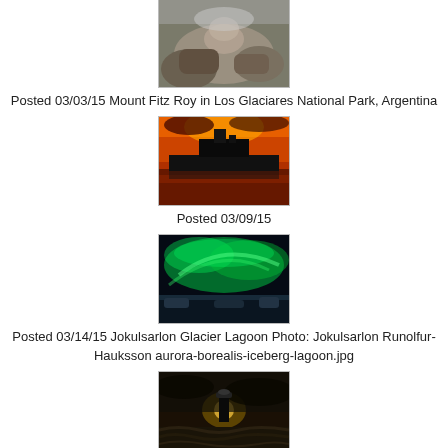[Figure (photo): Rocky terrain photo, partially visible at top of page - Mount Fitz Roy area]
Posted 03/03/15 Mount Fitz Roy in Los Glaciares National Park, Argentina
[Figure (photo): Large warship/aircraft carrier at sunset with vivid red and orange sky reflecting on water]
Posted 03/09/15
[Figure (photo): Northern lights (aurora borealis) in green over icy lagoon at night]
Posted 03/14/15 Jokulsarlon Glacier Lagoon Photo: Jokulsarlon Runolfur-Hauksson aurora-borealis-iceberg-lagoon.jpg
[Figure (photo): Lighthouse in stormy ocean waters at sunset/sunrise, dark moody scene]
Posted 03/20/15 U.S. Navy SEALs Swim Back To A Submarine In The Pacific